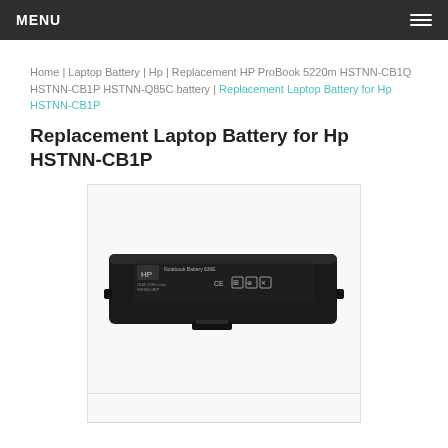MENU
Home | Laptop Battery | Hp | Replacement HP ProBook 5220m HSTNN-CB1Q HSTNN-CB1P HSTNN-Q85C battery | Replacement Laptop Battery for Hp HSTNN-CB1P
Replacement Laptop Battery for Hp HSTNN-CB1P
[Figure (photo): Photo of an HP laptop battery (model HSTNN-CB1P), black rectangular battery pack shown from above at a slight angle, with regulatory labels and symbols visible on top surface.]